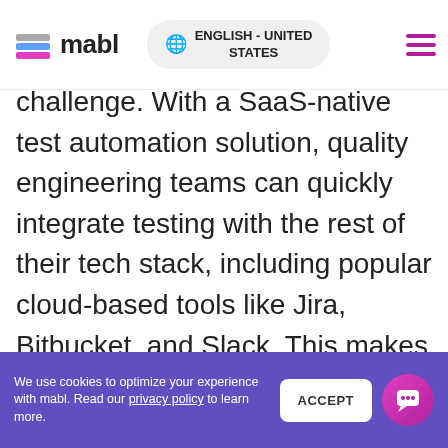mabl | ENGLISH - UNITED STATES
challenge. With a SaaS-native test automation solution, quality engineering teams can quickly integrate testing with the rest of their tech stack, including popular cloud-based tools like Jira, Bitbucket, and Slack. This makes it much easier to build a culture of quality by engaging developers, product owners, and more in software testing. If the testing platform is SaaS-native,
We use cookies to optimize your experience with mabl. Read our privacy policy to learn more. ACCEPT